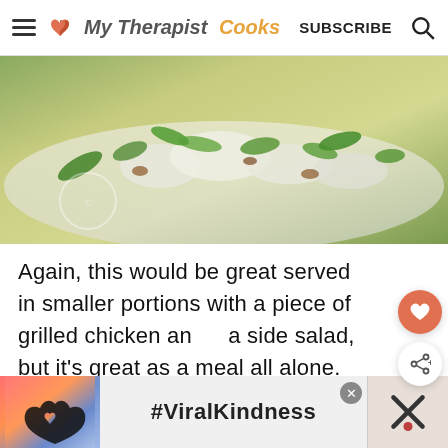My Therapist Cooks | SUBSCRIBE
[Figure (photo): Close-up photo of a rice dish with green vegetables including snap peas and edamame on a white plate]
Again, this would be great served in smaller portions with a piece of grilled chicken and a side salad, but it's great as a meal all alone.
[Figure (photo): Photo of a rice dish with colorful vegetables and herbs on a dark background with a 'What's Next' overlay showing 7-Ingredient Kimchi Fried... thumbnail]
[Figure (photo): Advertisement banner showing hands making a heart shape with #ViralKindness text and logos]